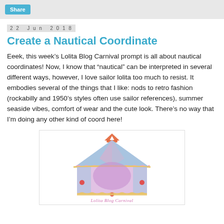Share
22 Jun 2018
Create a Nautical Coordinate
Eeek, this week's Lolita Blog Carnival prompt is all about nautical coordinates! Now, I know that “nautical” can be interpreted in several different ways, however, I love sailor lolita too much to resist. It embodies several of the things that I like: nods to retro fashion (rockabilly and 1950’s styles often use sailor references), summer seaside vibes, comfort of wear and the cute look. There’s no way that I’m doing any other kind of coord here!
[Figure (illustration): Lolita Blog Carnival logo showing a pastel pink and blue carnival tent with a red crown on top and gold trim, with text 'Lolita Blog Carnival' in pink at the bottom]